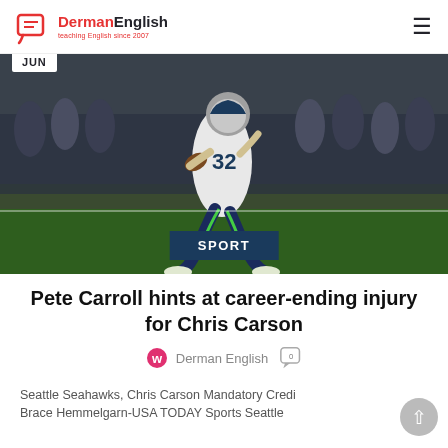DermanEnglish — teaching English since 2007
[Figure (photo): NFL player #32 in Seattle Seahawks uniform running with football on field, crowd in background. JUN badge top-left, SPORT badge bottom-center.]
Pete Carroll hints at career-ending injury for Chris Carson
Derman English
Seattle Seahawks, Chris Carson Mandatory Credit: Brace Hemmelgarn-USA TODAY Sports Seattle